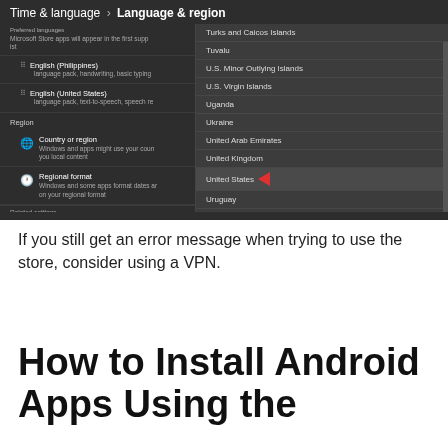[Figure (screenshot): Windows Settings screenshot showing Time & language > Language & region panel. Left side shows language list with English (Philippines) and English (United States), and Region section with Country or region and Regional format settings. Right side shows a dropdown list of countries/regions with 'United States' highlighted and a red arrow pointing to it. List includes: Turks and Caicos Islands, Tuvalu, U.S. Minor Outlying Islands, U.S. Virgin Islands, Uganda, Ukraine, United Arab Emirates, United Kingdom, United States (selected), Uruguay, Uzbekistan, Vanuatu, Vatican City.]
If you still get an error message when trying to use the store, consider using a VPN.
How to Install Android Apps Using the